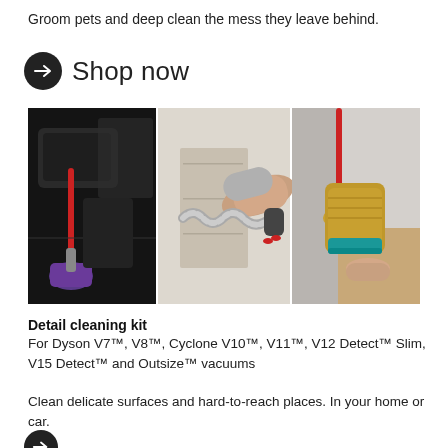Groom pets and deep clean the mess they leave behind.
→ Shop now
[Figure (photo): Three-panel image showing Dyson vacuum accessories in use: left panel shows a purple brush tool cleaning a dark car interior with red accents, center panel shows a person's hand holding a flexible grey hose attachment in a bright living space, right panel shows a gold/teal cylindrical Dyson attachment against a grey wall.]
Detail cleaning kit
For Dyson V7™, V8™, Cyclone V10™, V11™, V12 Detect™ Slim, V15 Detect™ and Outsize™ vacuums
Clean delicate surfaces and hard-to-reach places. In your home or car.
→ Shop now